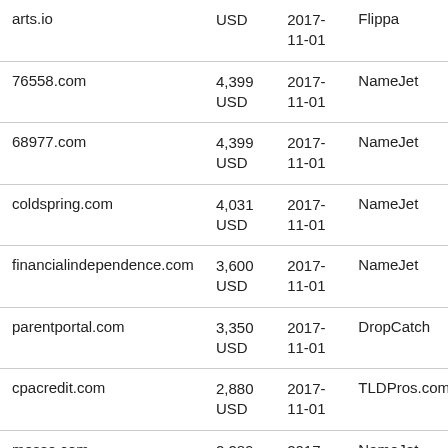| Domain | Price | Date | Venue |
| --- | --- | --- | --- |
| arts.io | USD | 2017-11-01 | Flippa |
| 76558.com | 4,399 USD | 2017-11-01 | NameJet |
| 68977.com | 4,399 USD | 2017-11-01 | NameJet |
| coldspring.com | 4,031 USD | 2017-11-01 | NameJet |
| financialindependence.com | 3,600 USD | 2017-11-01 | NameJet |
| parentportal.com | 3,350 USD | 2017-11-01 | DropCatch |
| cpacredit.com | 2,880 USD | 2017-11-01 | TLDPros.com |
| mosse.com | 2,289 | 2017- | NameJet |